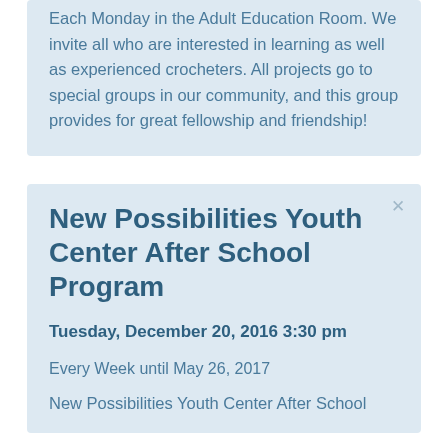Each Monday in the Adult Education Room. We invite all who are interested in learning as well as experienced crocheters. All projects go to special groups in our community, and this group provides for great fellowship and friendship!
New Possibilities Youth Center After School Program
Tuesday, December 20, 2016 3:30 pm
Every Week until May 26, 2017
New Possibilities Youth Center After School